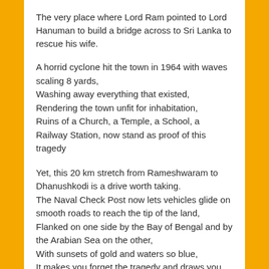The very place where Lord Ram pointed to Lord Hanuman to build a bridge across to Sri Lanka to rescue his wife.
A horrid cyclone hit the town in 1964 with waves scaling 8 yards,
Washing away everything that existed,
Rendering the town unfit for inhabitation,
Ruins of a Church, a Temple, a School, a Railway Station, now stand as proof of this tragedy
Yet, this 20 km stretch from Rameshwaram to Dhanushkodi is a drive worth taking.
The Naval Check Post now lets vehicles glide on smooth roads to reach the tip of the land,
Flanked on one side by the Bay of Bengal and by the Arabian Sea on the other,
With sunsets of gold and waters so blue,
It makes you forget the tragedy and draws you into a sullen calmness.